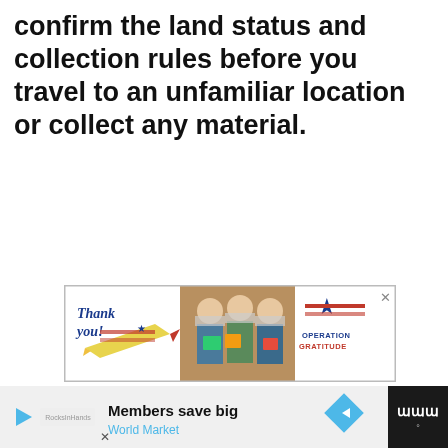confirm the land status and collection rules before you travel to an unfamiliar location or collect any material.
[Figure (screenshot): Advertisement banner for Operation Gratitude showing 'Thank you!' text with a pencil graphic and three masked medical workers holding cards, with the Operation Gratitude logo on the right.]
[Figure (infographic): UI elements: heart/like button (blue circle with heart icon), count '9', share button, and What's Next panel showing 'Rockhounding New Englan...' with a thumbnail image.]
[Figure (screenshot): Bottom advertisement bar showing 'Members save big / World Market' with play button, blue diamond icon, and dark right panel with 'W degree' logo.]